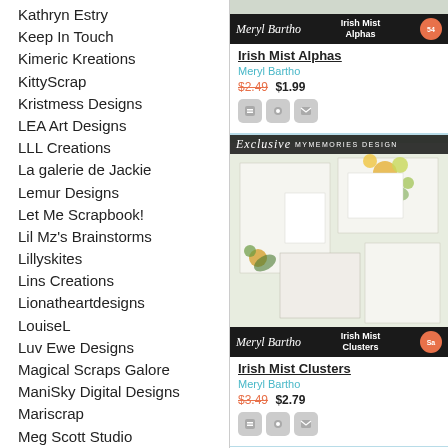Kathryn Estry
Keep In Touch
Kimeric Kreations
KittyScrap
Kristmess Designs
LEA Art Designs
LLL Creations
La galerie de Jackie
Lemur Designs
Let Me Scrapbook!
Lil Mz's Brainstorms
Lillyskites
Lins Creations
Lionatheartdesigns
LouiseL
Luv Ewe Designs
Magical Scraps Galore
ManiSky Digital Designs
Mariscrap
Meg Scott Studio
Meryl Bartho
Mistica Designs
MyMemories
[Figure (screenshot): Irish Mist Alphas product card with Meryl Bartho brand bar, price $1.99 (was $2.49), and action icons]
[Figure (screenshot): Irish Mist Clusters product card with Exclusive MyMemories Design banner, floral scrapbook layout image, Meryl Bartho brand bar, price $2.79 (was $3.49), and action icons]